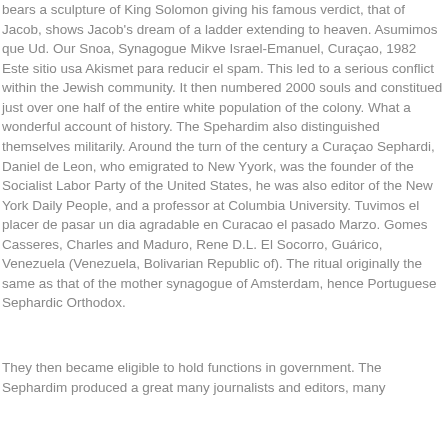bears a sculpture of King Solomon giving his famous verdict, that of Jacob, shows Jacob's dream of a ladder extending to heaven. Asumimos que Ud. Our Snoa, Synagogue Mikve Israel-Emanuel, Curaçao, 1982 Este sitio usa Akismet para reducir el spam. This led to a serious conflict within the Jewish community. It then numbered 2000 souls and constitued just over one half of the entire white population of the colony. What a wonderful account of history. The Spehardim also distinguished themselves militarily. Around the turn of the century a Curaçao Sephardi, Daniel de Leon, who emigrated to New Yyork, was the founder of the Socialist Labor Party of the United States, he was also editor of the New York Daily People, and a professor at Columbia University. Tuvimos el placer de pasar un dia agradable en Curacao el pasado Marzo. Gomes Casseres, Charles and Maduro, Rene D.L. El Socorro, Guárico, Venezuela (Venezuela, Bolivarian Republic of). The ritual originally the same as that of the mother synagogue of Amsterdam, hence Portuguese Sephardic Orthodox.
They then became eligible to hold functions in government. The Sephardim produced a great many journalists and editors, many